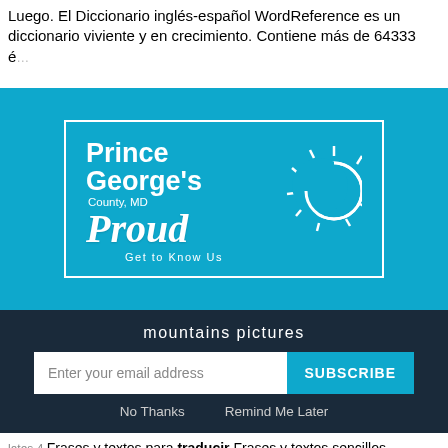Luego. El Diccionario inglés-español WordReference es un diccionario viviente y en crecimiento. Contiene más de 64333 é...
[Figure (logo): Prince George's County MD Proud - Get to Know Us logo on cyan/blue background with sun graphic]
mountains pictures
Enter your email address  SUBSCRIBE  No Thanks  Remind Me Later
Frases y textos para traducir Frases y textos sencillos Frases y textos sencil Read more Traductor. walgreens flyer this week